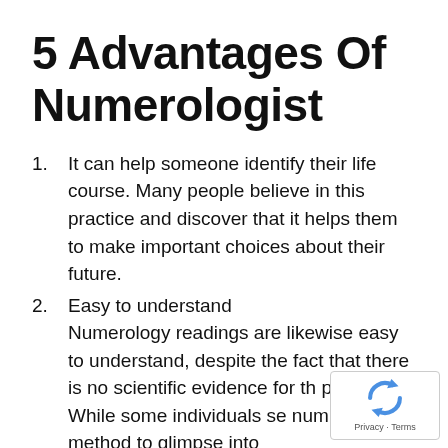5 Advantages Of Numerologist
It can help someone identify their life course. Many people believe in this practice and discover that it helps them to make important choices about their future.
Easy to understand Numerology readings are likewise easy to understand, despite the fact that there is no scientific evidence for the practice. While some individuals see numbers as a method to glimpse into